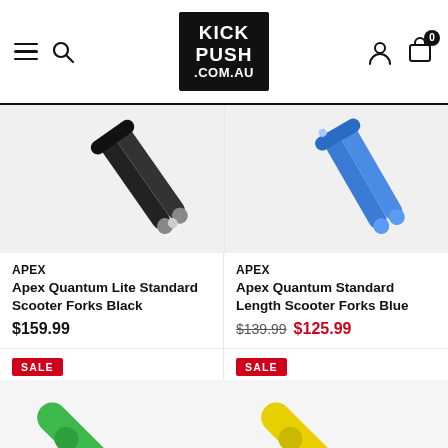KICK PUSH .COM.AU — navigation header
[Figure (photo): Apex Quantum Lite Standard Scooter Forks Black — product image showing black scooter forks top portion]
[Figure (photo): Apex Quantum Standard Length Scooter Forks Blue — product image showing blue scooter forks top portion]
APEX
Apex Quantum Lite Standard Scooter Forks Black
$159.99
APEX
Apex Quantum Standard Length Scooter Forks Blue
$139.99  $125.99
SALE
[Figure (photo): Green scooter forks product image — bottom partially visible]
SALE
[Figure (photo): Yellow scooter forks product image — bottom partially visible]